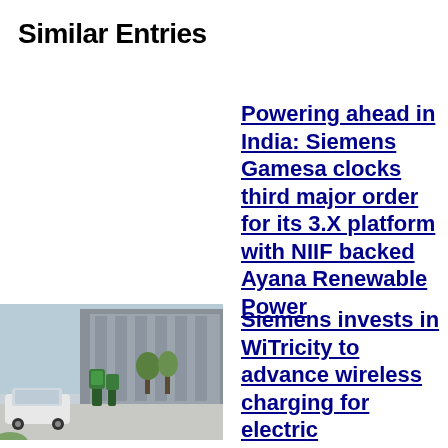Similar Entries
Powering ahead in India: Siemens Gamesa clocks third major order for its 3.X platform with NIIF backed Ayana Renewable Power
[Figure (photo): Photo of electric vehicle charging station in a parking lot with modern building and trees in background]
Siemens invests in WiTricity to advance wireless charging for electric